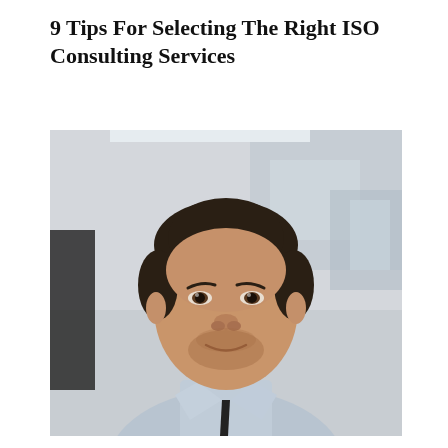9 Tips For Selecting The Right ISO Consulting Services
[Figure (photo): Professional headshot of a young man with dark hair, wearing a light grey button-up shirt with a dark undershirt, smiling slightly, photographed in a blurred office background.]